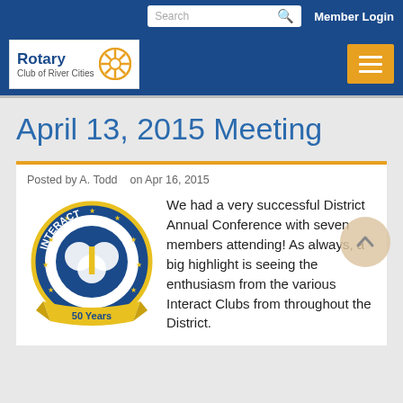Search   Member Login
[Figure (logo): Rotary Club of River Cities logo with gear wheel icon]
April 13, 2015 Meeting
Posted by A. Todd   on Apr 16, 2015
[Figure (logo): Interact Club 50 Years emblem — blue and gold circular badge]
We had a very successful District Annual Conference with seven members attending!  As always, a big highlight is seeing the enthusiasm from the various Interact Clubs from throughout the District.